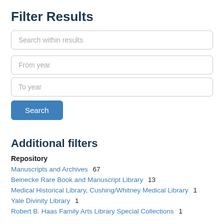Filter Results
Search within results
From year
To year
Search
Additional filters
Repository
Manuscripts and Archives  67
Beinecke Rare Book and Manuscript Library  13
Medical Historical Library, Cushing/Whitney Medical Library  1
Yale Divinity Library  1
Robert B. Haas Family Arts Library Special Collections  1
Names